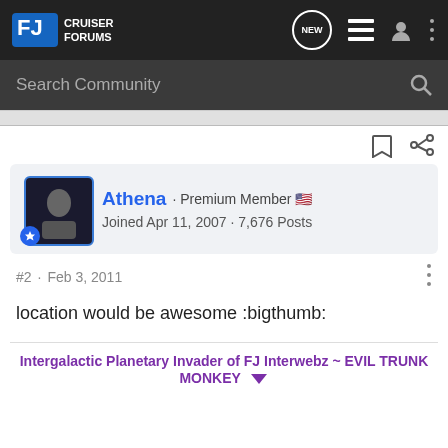FJ Cruiser Forums
Search Community
Athena · Premium Member
Joined Apr 11, 2007 · 7,676 Posts
#2 · Feb 3, 2011
location would be awesome :bigthumb:
Intergalactic Planetary Invader of FJ Interwebz ~ EVIL TRUNK MONKEY